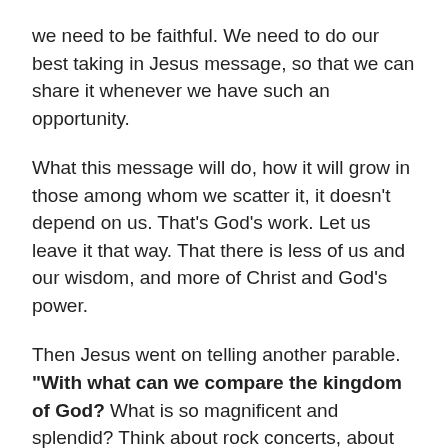we need to be faithful. We need to do our best taking in Jesus message, so that we can share it whenever we have such an opportunity.
What this message will do, how it will grow in those among whom we scatter it, it doesn't depend on us. That's God's work. Let us leave it that way. That there is less of us and our wisdom, and more of Christ and God's power.
Then Jesus went on telling another parable. “With what can we compare the kingdom of God? What is so magnificent and splendid? Think about rock concerts, about footy games, about Melbourne Cup. Thousands and tens of thousands of people. Music, light, money, fame, celebrities, glory and majesty. No… it wasn’t what Jesus said.